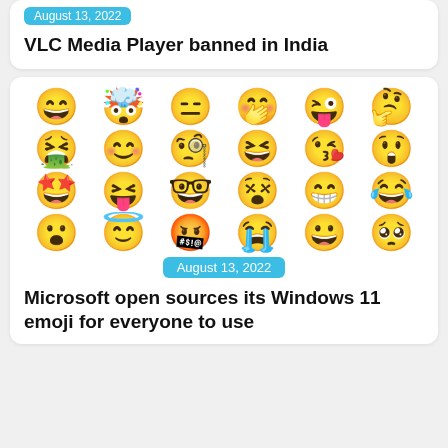August 13, 2022
VLC Media Player banned in India
[Figure (illustration): Grid of 24 Windows 11 emoji faces arranged in 4 rows of 6, showing various expressions including laughing, crying, surprised, star-eyed, angel, angry, and others in Microsoft's 3D style with yellow/orange coloring]
August 13, 2022
Microsoft open sources its Windows 11 emoji for everyone to use